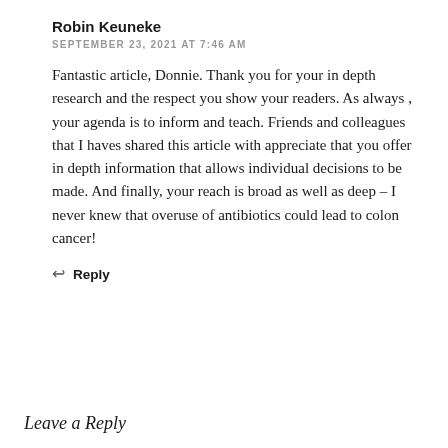Robin Keuneke
SEPTEMBER 23, 2021 AT 7:46 AM
Fantastic article, Donnie. Thank you for your in depth research and the respect you show your readers. As always , your agenda is to inform and teach. Friends and colleagues that I haves shared this article with appreciate that you offer in depth information that allows individual decisions to be made. And finally, your reach is broad as well as deep – I never knew that overuse of antibiotics could lead to colon cancer!
Reply
Leave a Reply